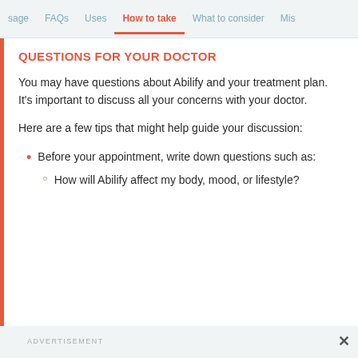sage  FAQs  Uses  How to take  What to consider  Mis
QUESTIONS FOR YOUR DOCTOR
You may have questions about Abilify and your treatment plan. It's important to discuss all your concerns with your doctor.
Here are a few tips that might help guide your discussion:
Before your appointment, write down questions such as:
How will Abilify affect my body, mood, or lifestyle?
ADVERTISEMENT